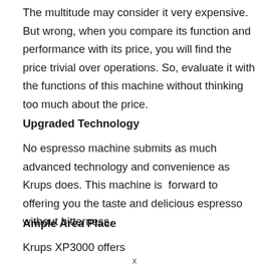The multitude may consider it very expensive. But wrong, when you compare its function and performance with its price, you will find the price trivial over operations. So, evaluate it with the functions of this machine without thinking too much about the price.
Upgraded Technology
No espresso machine submits as much advanced technology and convenience as Krups does. This machine is  forward to offering you the taste and delicious espresso without bitterness.
Ample Area Place
Krups XP3000 offers...
x